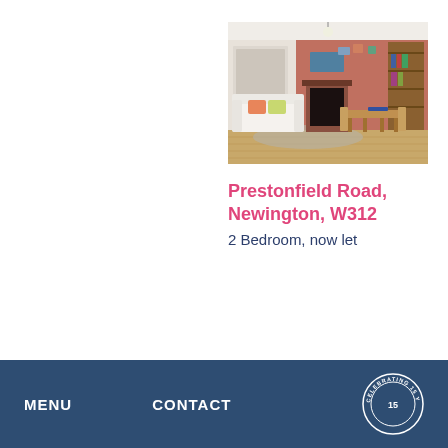[Figure (photo): Interior photo of a living/dining room with salmon-colored walls, white sofa, fireplace, wooden dining table and chairs, and shelving unit]
Prestonfield Road, Newington, W312
2 Bedroom, now let
MENU   CONTACT   CELEBRATING 15 YEARS